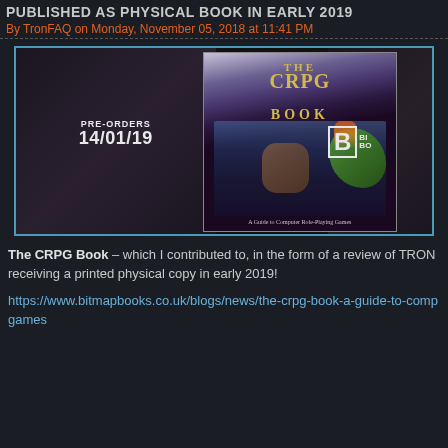PUBLISHED AS PHYSICAL BOOK IN EARLY 2019
By TronFAQ on Monday, November 05, 2018 at 11:41 PM
[Figure (photo): Promotional image for The CRPG Book showing the book cover with fantasy artwork, pre-orders date 14/01/19, and Bitmap Books logo]
The CRPG Book – which I contributed to, in the form of a review of TRON receiving a printed physical copy in early 2019!
https://www.bitmapbooks.co.uk/blogs/news/the-crpg-book-a-guide-to-comp games